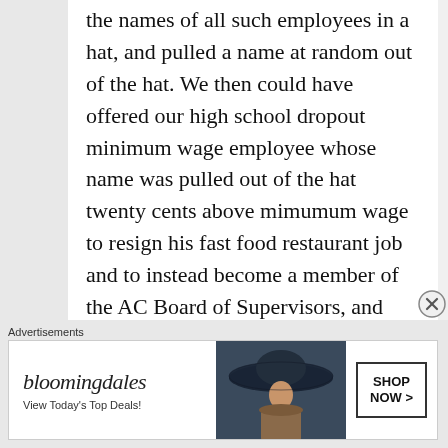the names of all such employees in a hat, and pulled a name at random out of the hat. We then could have offered our high school dropout minimum wage employee whose name was pulled out of the hat twenty cents above mimumum wage to resign his fast food restaurant job and to instead become a member of the AC Board of Supervisors, and then been more than ninety percent certain he would be much more intelligent, much more sensible, and a
Advertisements
[Figure (other): Bloomingdale's advertisement banner with logo text 'bloomingdales', tagline 'View Today's Top Deals!', an image of a woman wearing a large dark hat, and a 'SHOP NOW >' button]